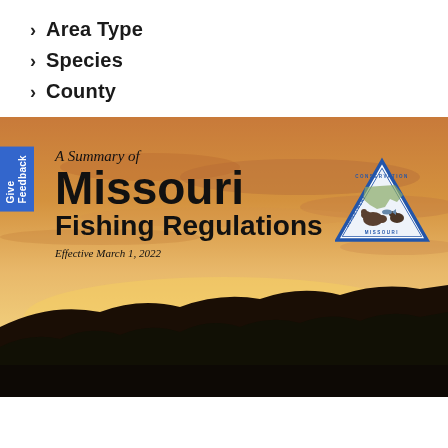> Area Type
> Species
> County
[Figure (photo): Cover image of Missouri Fishing Regulations booklet effective March 1, 2022, showing a sunset landscape with silhouetted trees and hills. Text reads 'A Summary of Missouri Fishing Regulations, Effective March 1, 2022' with Missouri Conservation Department triangle logo. Blue 'Give Feedback' tab on left edge.]